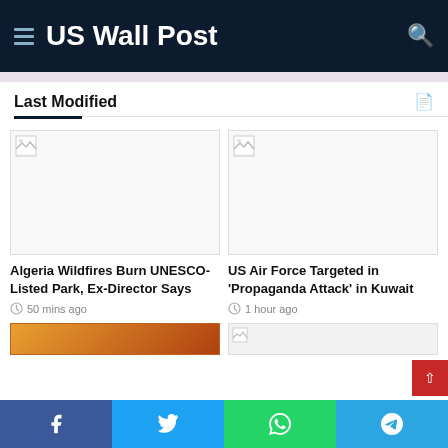US Wall Post
Last Modified
[Figure (photo): Broken image placeholder for Algeria Wildfires article]
Algeria Wildfires Burn UNESCO-Listed Park, Ex-Director Says
50 mins ago
[Figure (photo): Broken image placeholder for US Air Force article]
US Air Force Targeted in 'Propaganda Attack' in Kuwait
1 hour ago
[Figure (photo): Partial image of a third article at bottom left]
[Figure (photo): Partial image placeholder at bottom right]
Facebook Twitter WhatsApp Telegram